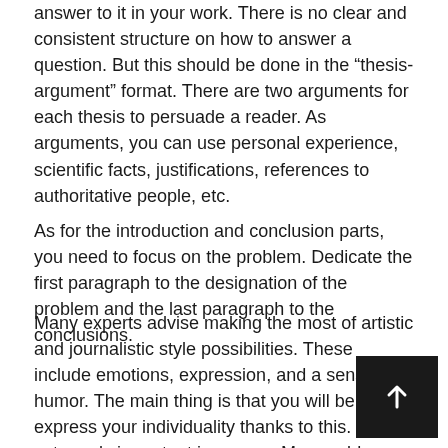answer to it in your work. There is no clear and consistent structure on how to answer a question. But this should be done in the “thesis-argument” format. There are two arguments for each thesis to persuade a reader. As arguments, you can use personal experience, scientific facts, justifications, references to authoritative people, etc.
As for the introduction and conclusion parts, you need to focus on the problem. Dedicate the first paragraph to the designation of the problem and the last paragraph to the conclusions.
Many experts advise making the most of artistic and journalistic style possibilities. These include emotions, expression, and a sense of humor. The main thing is that you will be able to express your individuality thanks to this. It is extremely important in papers. Memorable aphorisms and sayings help interest the reader. The clash of contradictory positions and statements increases the readability of the text.